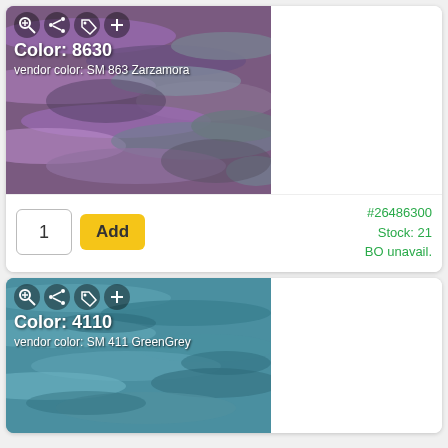[Figure (photo): Close-up photo of purple and grey variegated yarn skein, with overlay showing Color: 8630 and vendor color: SM 863 Zarzamora]
Color: 8630
vendor color: SM 863 Zarzamora
#26486300
Stock: 21
BO unavail.
[Figure (photo): Close-up photo of teal/blue-grey yarn skein, with overlay showing Color: 4110 and vendor color: SM 411 GreenGrey]
Color: 4110
vendor color: SM 411 GreenGrey